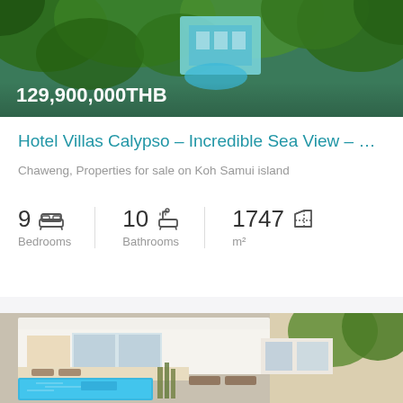[Figure (photo): Aerial drone photo of Hotel Villas Calypso property surrounded by tropical trees, with swimming pool and buildings visible from above. Price overlay text '129,900,000THB' in white.]
Hotel Villas Calypso – Incredible Sea View – East ...
Chaweng, Properties for sale on Koh Samui island
9 Bedrooms  10 Bathrooms  1747 m²
[Figure (photo): Aerial photo of modern white villa with large swimming pool on lower terrace, open-plan living areas with glass doors, outdoor lounge furniture, and tropical garden surroundings.]